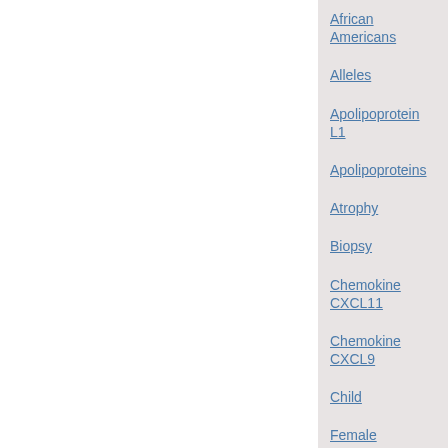African Americans
Alleles
Apolipoprotein L1
Apolipoproteins
Atrophy
Biopsy
Chemokine CXCL11
Chemokine CXCL9
Child
Female
Fibrosis
Gene Expression
Genomics